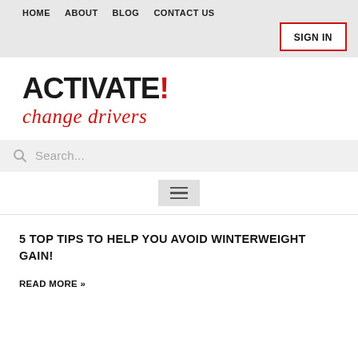HOME   ABOUT   BLOG   CONTACT US
[Figure (logo): ACTIVATE! change drivers logo with bold black text and red exclamation mark, red cursive subtitle]
Search...
[Figure (other): Hamburger menu icon (three horizontal lines) on a light grey square background]
5 TOP TIPS TO HELP YOU AVOID WINTERWEIGHT GAIN!
READ MORE »